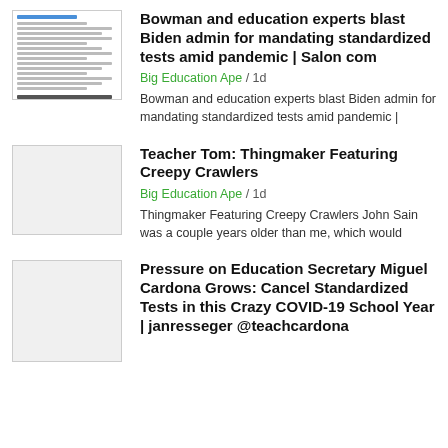Bowman and education experts blast Biden admin for mandating standardized tests amid pandemic | Salon com
Big Education Ape / 1d
Bowman and education experts blast Biden admin for mandating standardized tests amid pandemic |
Teacher Tom: Thingmaker Featuring Creepy Crawlers
Big Education Ape / 1d
Thingmaker Featuring Creepy Crawlers John Sain was a couple years older than me, which would
Pressure on Education Secretary Miguel Cardona Grows: Cancel Standardized Tests in this Crazy COVID-19 School Year | janresseger @teachcardona